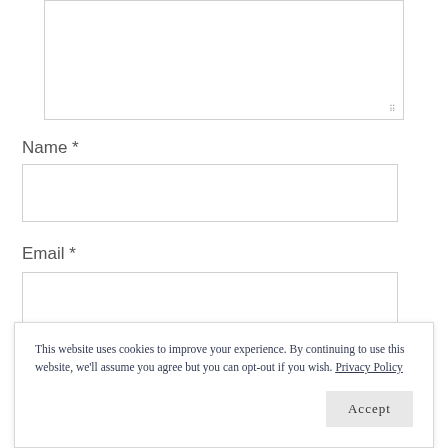[Figure (screenshot): A textarea input box (partially visible, top portion), showing a resizable text area with a resize handle in the bottom-right corner.]
Name *
[Figure (screenshot): A text input field for Name]
Email *
[Figure (screenshot): A text input field for Email (partially visible)]
This website uses cookies to improve your experience. By continuing to use this website, we'll assume you agree but you can opt-out if you wish. Privacy Policy
Accept